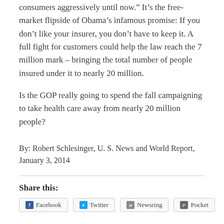consumers aggressively until now.” It’s the free-market flipside of Obama’s infamous promise: If you don’t like your insurer, you don’t have to keep it. A full fight for customers could help the law reach the 7 million mark – bringing the total number of people insured under it to nearly 20 million.
Is the GOP really going to spend the fall campaigning to take health care away from nearly 20 million people?
By: Robert Schlesinger, U. S. News and World Report, January 3, 2014
Share this: